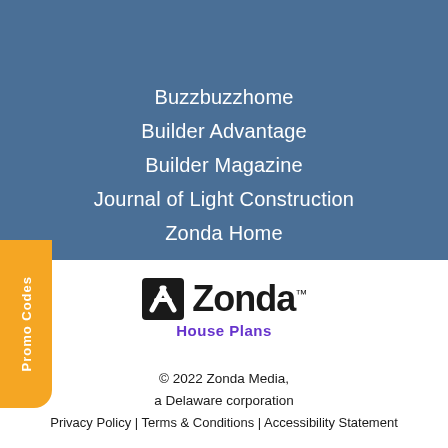Buzzbuzzhome
Builder Advantage
Builder Magazine
Journal of Light Construction
Zonda Home
[Figure (logo): Zonda House Plans logo with stylized Z mark and 'Zonda.' wordmark in black, with 'House Plans' in purple below]
© 2022 Zonda Media, a Delaware corporation
Privacy Policy | Terms & Conditions | Accessibility Statement